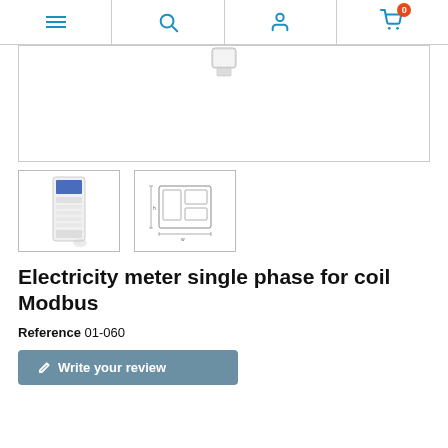Navigation bar with menu, search, account, and cart (0 items) icons
[Figure (photo): Main product image area showing top portion of electricity meter device on white background]
[Figure (photo): Thumbnail 1: photo of single-phase electricity meter device (white, slim, DIN-rail mount)]
[Figure (engineering-diagram): Thumbnail 2: technical line drawing / dimensional diagram of the electricity meter]
Electricity meter single phase for coil Modbus
Reference 01-060
Write your review